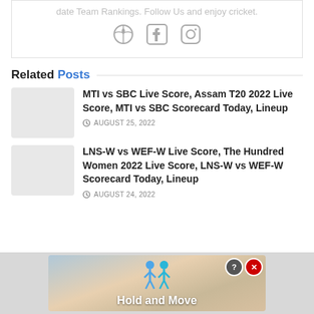date Team Rankings. Follow Us and enjoy cricket.
[Figure (illustration): Social media icons: heart/globe icon, Facebook icon, Instagram icon]
Related Posts
MTI vs SBC Live Score, Assam T20 2022 Live Score, MTI vs SBC Scorecard Today, Lineup
AUGUST 25, 2022
LNS-W vs WEF-W Live Score, The Hundred Women 2022 Live Score, LNS-W vs WEF-W Scorecard Today, Lineup
AUGUST 24, 2022
[Figure (illustration): Advertisement banner: Hold and Move game with figures on a wooden board]